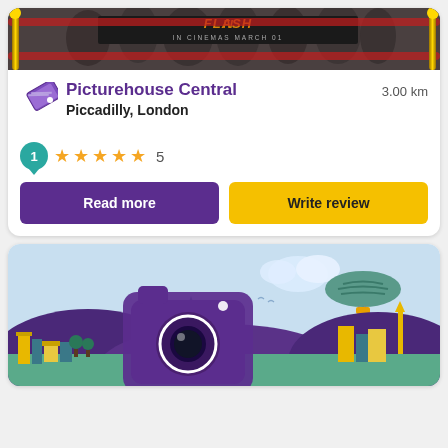[Figure (photo): Cinema premiere photo showing people behind a red rope barrier with gold posts, with a film title banner in the background reading IN CINEMAS MARCH 01]
Picturehouse Central
Piccadilly, London
3.00 km
1 review bubble, 5 stars rating, count: 5
Read more
Write review
[Figure (illustration): Illustrated cityscape with a camera icon overlay, showing a purple hillside with colorful city buildings, trees, a blimp in a light blue sky with clouds]